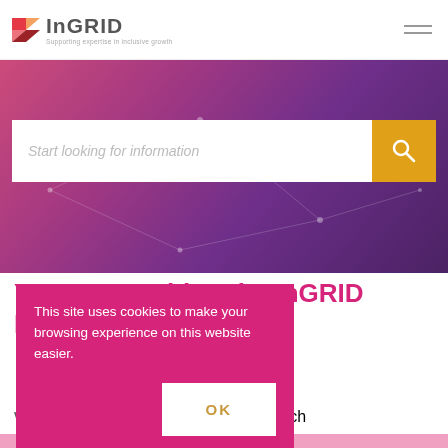InGRID – Supporting expertise in inclusive growth
[Figure (screenshot): InGRID logo with orange/red diamond icon and text 'InGRID Supporting expertise in inclusive growth']
[Figure (screenshot): Hero banner with gradient background (pink to purple) and network line decoration, containing a search bar with text 'Start looking for information' and an orange search button]
You're searching the InGRID Portal
This site uses cookies to make your browsing experience on this website easier.
We found 89 articles matching your search